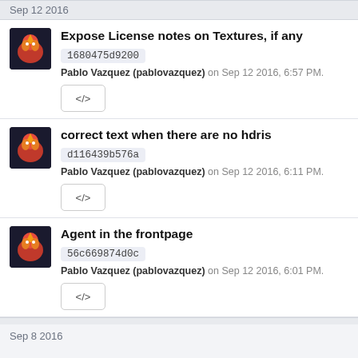Sep 12 2016
Expose License notes on Textures, if any
1680475d9200
Pablo Vazquez (pablovazquez) on Sep 12 2016, 6:57 PM.
correct text when there are no hdris
d116439b576a
Pablo Vazquez (pablovazquez) on Sep 12 2016, 6:11 PM.
Agent in the frontpage
56c669874d0c
Pablo Vazquez (pablovazquez) on Sep 12 2016, 6:01 PM.
Sep 8 2016